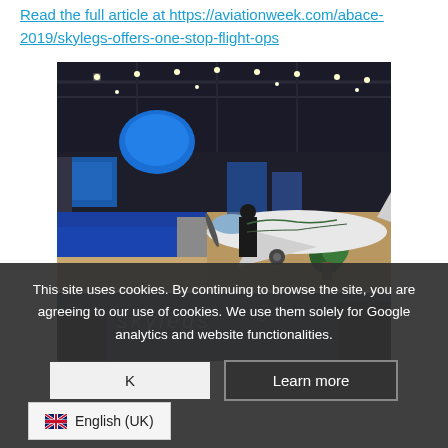Read the full article at https://aviationweek.com/abace-2019/skylegs-offers-one-stop-flight-ops
[Figure (photo): Exhibition hall photo showing a small white aircraft on display with blue carpet, exhibition booths with screens and banners, and track lighting on the ceiling]
[Figure (photo): Partially visible second photo of what appears to be a Skylegs booth at an aviation show]
This site uses cookies. By continuing to browse the site, you are agreeing to our use of cookies. We use them solely for Google analytics and website functionalities.